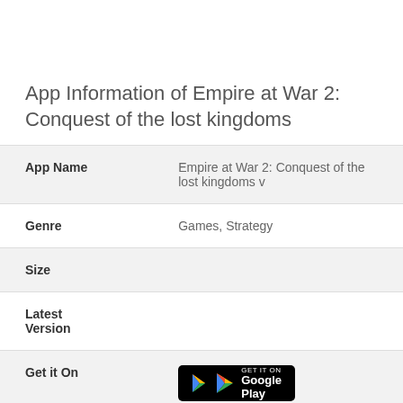App Information of Empire at War 2: Conquest of the lost kingdoms
| Field | Value |
| --- | --- |
| App Name | Empire at War 2: Conquest of the lost kingdoms v |
| Genre | Games, Strategy |
| Size |  |
| Latest Version |  |
| Get it On | [Google Play button] |
| Update |  |